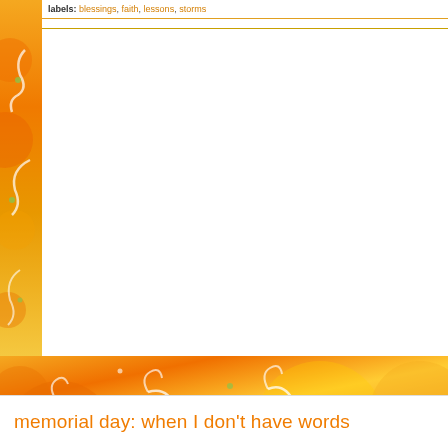labels: blessings, faith, lessons, storms
[Figure (illustration): Orange and yellow decorative swirl/scroll pattern forming a left border and bottom band across the page, with white swirl motifs on warm orange-yellow gradient background]
memorial day: when I don't have words